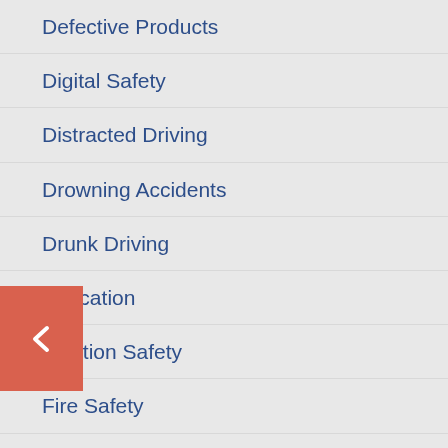Defective Products
Digital Safety
Distracted Driving
Drowning Accidents
Drunk Driving
Education
Election Safety
Fire Safety
Food Safety
Healthcare
holidays
In The Community